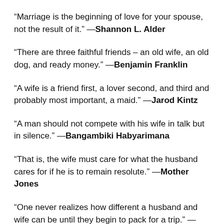“Marriage is the beginning of love for your spouse, not the result of it.” —Shannon L. Alder
“There are three faithful friends – an old wife, an old dog, and ready money.” —Benjamin Franklin
“A wife is a friend first, a lover second, and third and probably most important, a maid.” —Jarod Kintz
“A man should not compete with his wife in talk but in silence.” —Bangambiki Habyarimana
“That is, the wife must care for what the husband cares for if he is to remain resolute.” —Mother Jones
“One never realizes how different a husband and wife can be until they begin to pack for a trip.” —Erma